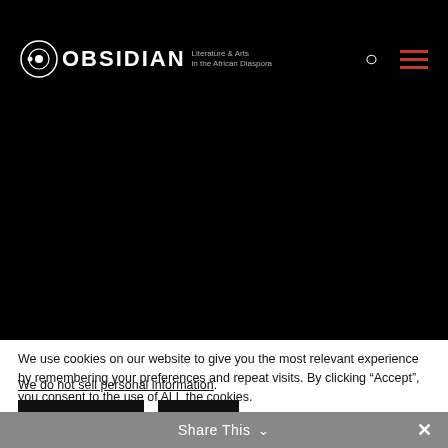OBSIDIAN Literature & Arts in the African Diaspora
[Figure (screenshot): Black hero/banner area of the Obsidian website]
We use cookies on our website to give you the most relevant experience by remembering your preferences and repeat visits. By clicking “Accept”, you consent to the use of ALL the cookies. We do not sell personal information.
Cookie settings  Accept
Share This